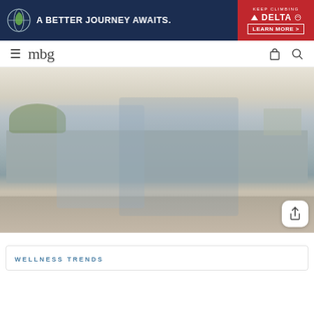[Figure (other): Delta Air Lines advertisement banner: dark navy background on left with leaf/globe logo and text 'A BETTER JOURNEY AWAITS.' and red section on right with 'KEEP CLIMBING', Delta triangle logo, 'DELTA', and 'LEARN MORE >' button]
mbg
[Figure (photo): Two people riding bicycles outdoors near a grey wall. The person on the right has long red curly hair and wears a denim jacket and light blue jeans. The person on the left wears a cap and light blue shirt.]
WELLNESS TRENDS